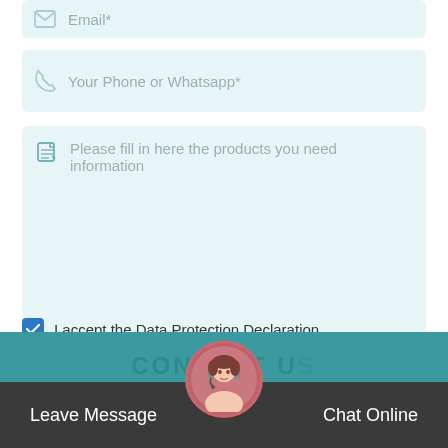[Figure (screenshot): Email input field (partial, top of page) with envelope icon and placeholder text 'Email*']
[Figure (screenshot): Phone input field with phone icon and placeholder text 'Your Phone or Whatsapp*']
[Figure (screenshot): Message textarea with edit icon and placeholder text 'Please fill in here the products you need information']
I accept the Data Protection Declaration
SEND NOW
Leave Message
Chat Online
[Figure (photo): Customer service agent avatar photo in circular frame]